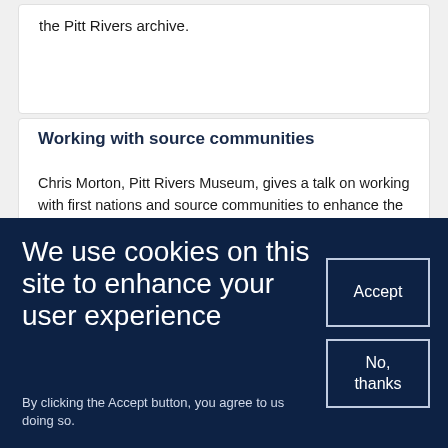the Pitt Rivers archive.
Working with source communities
Chris Morton, Pitt Rivers Museum, gives a talk on working with first nations and source communities to enhance the museum's understanding of its
We use cookies on this site to enhance your user experience
By clicking the Accept button, you agree to us doing so.
Accept
No, thanks